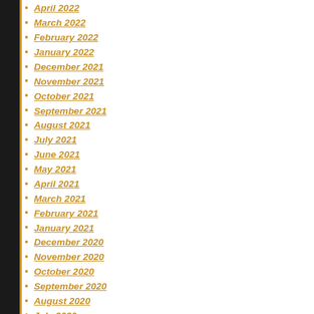April 2022
March 2022
February 2022
January 2022
December 2021
November 2021
October 2021
September 2021
August 2021
July 2021
June 2021
May 2021
April 2021
March 2021
February 2021
January 2021
December 2020
November 2020
October 2020
September 2020
August 2020
July 2020
June 2020
May 2020
April 2020
March 2020
February 2020
January 2020
December 2019
November 2019
October 2019
September 2019
August 2019